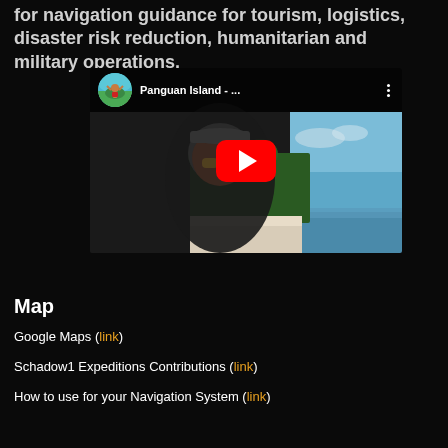for navigation guidance for tourism, logistics, disaster risk reduction, humanitarian and military operations.
[Figure (screenshot): YouTube video thumbnail showing 'Panguan Island - ...' with a man taking a selfie on a beach with blue sky, white sand, and green trees. A red YouTube play button is overlaid in the center. The video has a channel avatar showing a tropical scene with a person with raised arms.]
Map
Google Maps (link)
Schadow1 Expeditions Contributions (link)
How to use for your Navigation System (link)